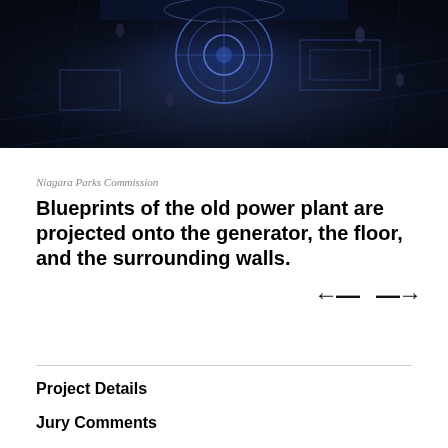[Figure (photo): Aerial/top-down view of an old power plant interior with blueprints projected onto a large circular generator, the floor, and surrounding walls. People are visible walking around the space. The scene is dark with blue-tinted light projections creating geometric patterns.]
Niagara Parks Commission
Blueprints of the old power plant are projected onto the generator, the floor, and the surrounding walls.
Project Details
Jury Comments